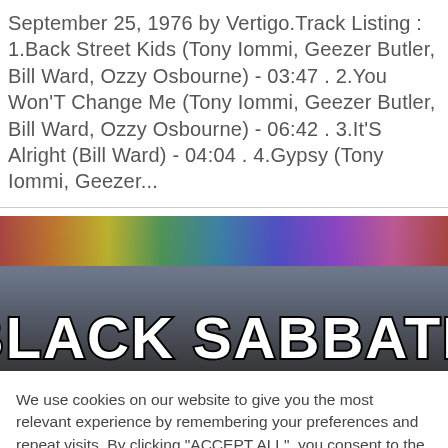September 25, 1976 by Vertigo.Track Listing : 1.Back Street Kids (Tony Iommi, Geezer Butler, Bill Ward, Ozzy Osbourne) - 03:47 . 2.You Won'T Change Me (Tony Iommi, Geezer Butler, Bill Ward, Ozzy Osbourne) - 06:42 . 3.It'S Alright (Bill Ward) - 04:04 . 4.Gypsy (Tony Iommi, Geezer...
[Figure (photo): Black Sabbath banner image with rainbow colors at top and large white bold text reading BLACK SABBATH over a dark background with silhouette imagery]
We use cookies on our website to give you the most relevant experience by remembering your preferences and repeat visits. By clicking "ACCEPT ALL", you consent to the use of ALL the cookies. However, you may visit "Cookie Settings" to provide a controlled consent.
Cookie Settings | REJECT ALL | ACCEPT ALL